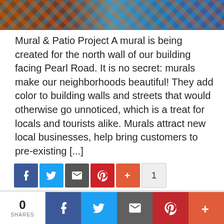[Figure (photo): Colorful murals on building walls, graffiti art style with bright colors including orange, blue, green and yellow]
Mural & Patio Project A mural is being created for the north wall of our building facing Pearl Road. It is no secret: murals make our neighborhoods beautiful! They add color to building walls and streets that would otherwise go unnoticed, which is a treat for locals and tourists alike. Murals attract new local businesses, help bring customers to pre-existing [...]
[Figure (screenshot): Social sharing buttons: Facebook (blue), Twitter (blue), Email (gray), Pinterest (red), Plus (orange-red), and count: 1]
[Figure (screenshot): READ MORE button in red]
0 SHARES | Facebook | Twitter | Email | Pinterest | Plus